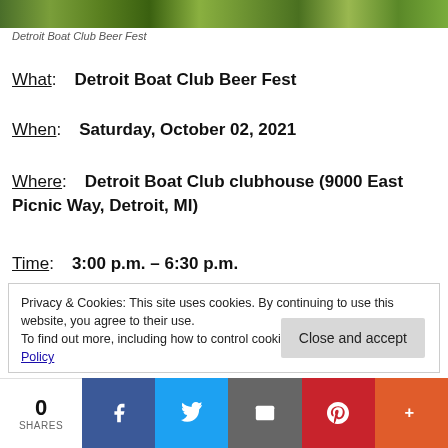[Figure (photo): Green foliage/nature strip image at the top of the page]
Detroit Boat Club Beer Fest
What: Detroit Boat Club Beer Fest
When: Saturday, October 02, 2021
Where: Detroit Boat Club clubhouse (9000 East Picnic Way, Detroit, MI)
Time: 3:00 p.m. – 6:30 p.m.
Privacy & Cookies: This site uses cookies. By continuing to use this website, you agree to their use.
To find out more, including how to control cookies, see here: Cookie Policy
0 SHARES